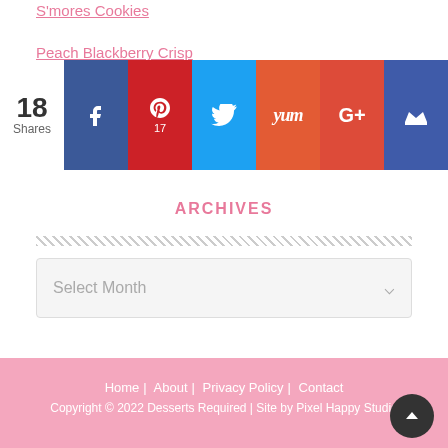S'mores Cookies
Peach Blackberry Crisp
(partially visible link row)
[Figure (infographic): Social share bar with 18 total shares: Facebook, Pinterest (17), Twitter, Yummly, Google+, crown/email buttons]
ARCHIVES
[Figure (screenshot): Select Month dropdown widget]
Home | About | Privacy Policy | Contact
Copyright © 2022 Desserts Required | Site by Pixel Happy Studio